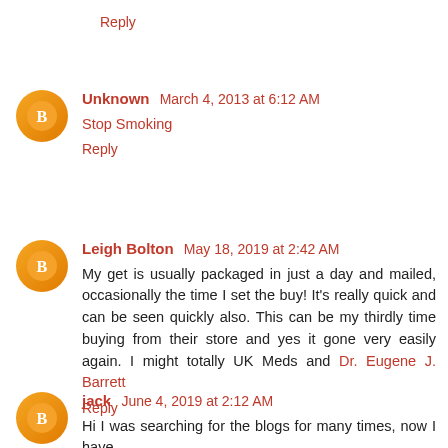Reply
Unknown  March 4, 2013 at 6:12 AM
Stop Smoking
Reply
Leigh Bolton  May 18, 2019 at 2:42 AM
My get is usually packaged in just a day and mailed, occasionally the time I set the buy! It's really quick and can be seen quickly also. This can be my thirdly time buying from their store and yes it gone very easily again. I might totally UK Meds and Dr. Eugene J. Barrett
Reply
jack  June 4, 2019 at 2:12 AM
Hi I was searching for the blogs for many times, now I have